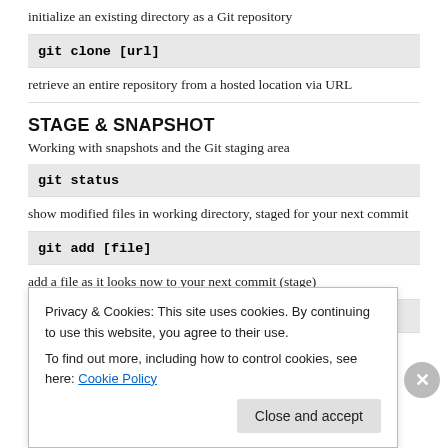initialize an existing directory as a Git repository
git clone [url]
retrieve an entire repository from a hosted location via URL
STAGE & SNAPSHOT
Working with snapshots and the Git staging area
git status
show modified files in working directory, staged for your next commit
git add [file]
add a file as it looks now to your next commit (stage)
git reset [file]
unstage a file while retaining the changes in working directory
Privacy & Cookies: This site uses cookies. By continuing to use this website, you agree to their use.
To find out more, including how to control cookies, see here: Cookie Policy